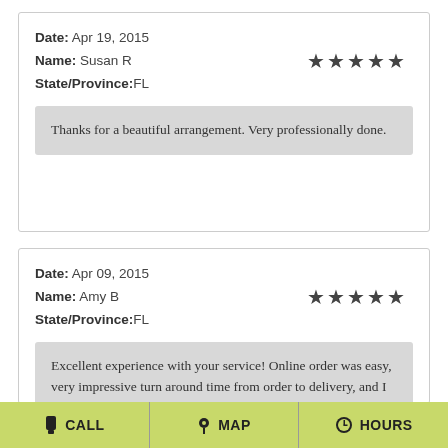Date: Apr 19, 2015
Name: Susan R
State/Province: FL
★★★★★
Thanks for a beautiful arrangement. Very professionally done.
Date: Apr 09, 2015
Name: Amy B
State/Province: FL
★★★★★
Excellent experience with your service! Online order was easy, very impressive turn around time from order to delivery, and I got a personal call to double check what I...
CALL  MAP  HOURS